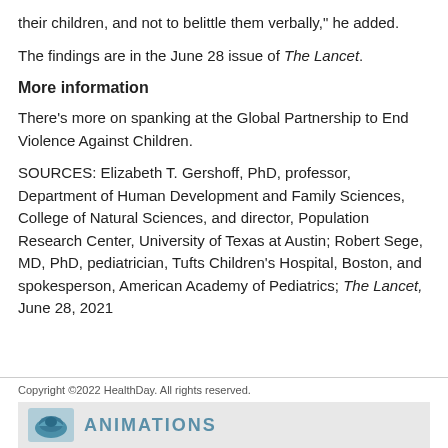their children, and not to belittle them verbally," he added.
The findings are in the June 28 issue of The Lancet.
More information
There's more on spanking at the Global Partnership to End Violence Against Children.
SOURCES: Elizabeth T. Gershoff, PhD, professor, Department of Human Development and Family Sciences, College of Natural Sciences, and director, Population Research Center, University of Texas at Austin; Robert Sege, MD, PhD, pediatrician, Tufts Children's Hospital, Boston, and spokesperson, American Academy of Pediatrics; The Lancet, June 28, 2021
Copyright ©2022 HealthDay. All rights reserved.
[Figure (logo): ANIMATIONS logo with teal bird graphic]